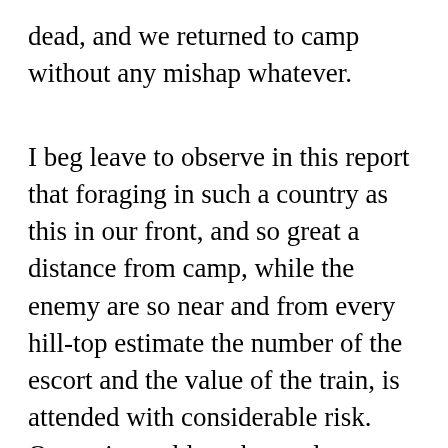dead, and we returned to camp without any mishap whatever.
I beg leave to observe in this report that foraging in such a country as this in our front, and so great a distance from camp, while the enemy are so near and from every hill-top estimate the number of the escort and the value of the train, is attended with considerable risk. Our train could not be made to move in a less space than 4 miles, and if it were not possible to throw a superior force in rear of foraging expeditions it would not be difficult to